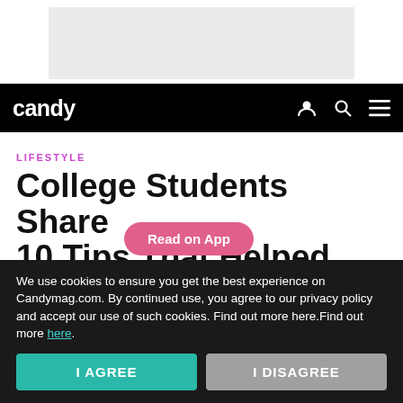[Figure (other): Gray advertisement banner placeholder at top of page]
candy
LIFESTYLE
College Students Share 10 Tips Th[Read on App]lped Them ~Ace~ an
We use cookies to ensure you get the best experience on Candymag.com. By continued use, you agree to our privacy policy and accept our use of such cookies. Find out more here.Find out more here.
I AGREE
I DISAGREE